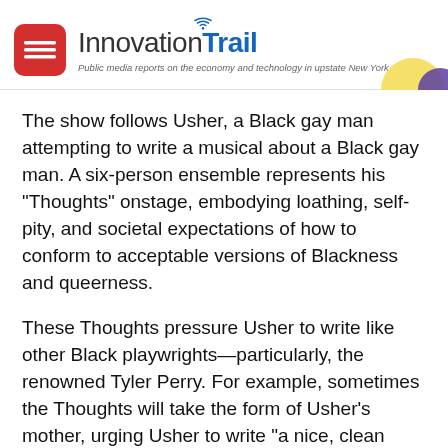InnovationTrail — Public media reports on the economy and technology in upstate New York
The show follows Usher, a Black gay man attempting to write a musical about a Black gay man. A six-person ensemble represents his "Thoughts" onstage, embodying loathing, self-pity, and societal expectations of how to conform to acceptable versions of Blackness and queerness.
These Thoughts pressure Usher to write like other Black playwrights—particularly, the renowned Tyler Perry. For example, sometimes the Thoughts will take the form of Usher's mother, urging Usher to write "a nice, clean Tyler Perry-like gospel play for your parents." Other times, like in the song "Tyler Perry Writes Real Life," they take the form of Harriet